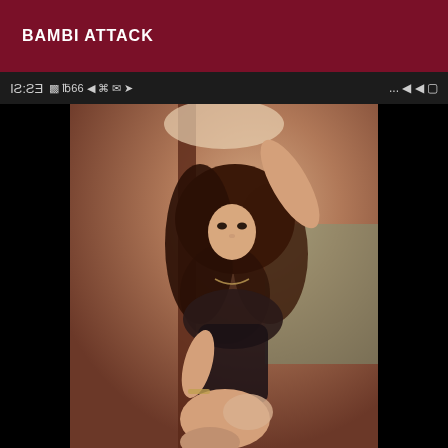BAMBI ATTACK
[Figure (screenshot): Screenshot of a mobile phone screen showing a status bar with mirrored time '12:53' and icons, with a photo of a woman with long curly dark hair in a posed position against a warm-toned background.]